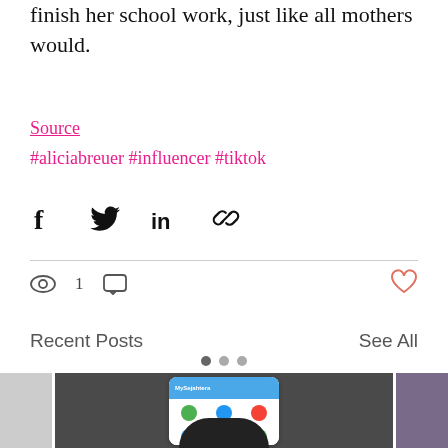finish her school work, just like all mothers would.
Source
#aliciabreuer #influencer #tiktok
[Figure (other): Social media share icons: Facebook, Twitter, LinkedIn, Link]
1 (views) (comments) (heart/like)
Recent Posts
See All
[Figure (photo): Carousel of recent post thumbnail images, center showing a hand holding a phone with MySejahtera app]